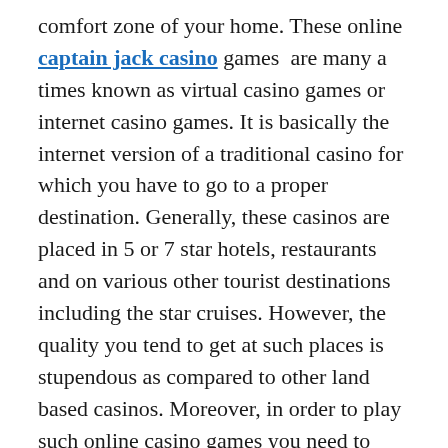comfort zone of your home. These online captain jack casino games  are many a times known as virtual casino games or internet casino games. It is basically the internet version of a traditional casino for which you have to go to a proper destination. Generally, these casinos are placed in 5 or 7 star hotels, restaurants and on various other tourist destinations including the star cruises. However, the quality you tend to get at such places is stupendous as compared to other land based casinos. Moreover, in order to play such online casino games you need to download well decoded software. Various online companies generally, lease or purchase such high quality software. Some of the most commonly used best quality gambling